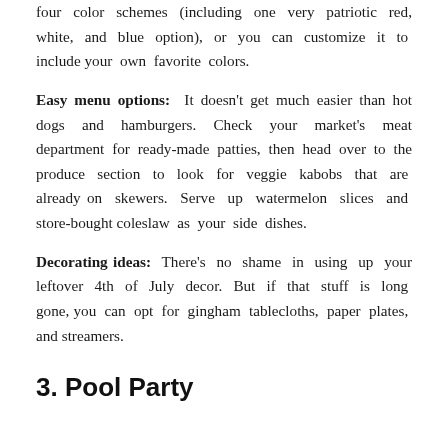four color schemes (including one very patriotic red, white, and blue option), or you can customize it to include your own favorite colors.
Easy menu options: It doesn't get much easier than hot dogs and hamburgers. Check your market's meat department for ready-made patties, then head over to the produce section to look for veggie kabobs that are already on skewers. Serve up watermelon slices and store-bought coleslaw as your side dishes.
Decorating ideas: There's no shame in using up your leftover 4th of July decor. But if that stuff is long gone, you can opt for gingham tablecloths, paper plates, and streamers.
3. Pool Party